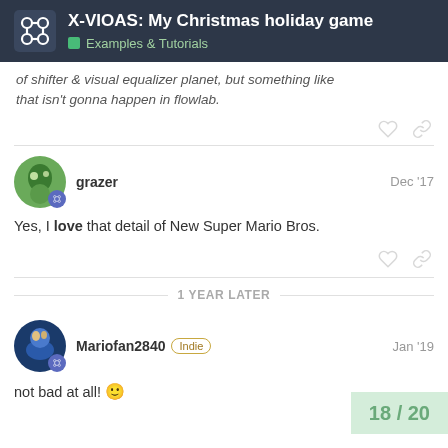X-VIOAS: My Christmas holiday game — Examples & Tutorials
of shifter & visual equalizer planet, but something like that isn't gonna happen in flowlab.
grazer — Dec '17
Yes, I love that detail of New Super Mario Bros.
1 YEAR LATER
Mariofan2840 Indie — Jan '19
not bad at all! 🙂
18 / 20